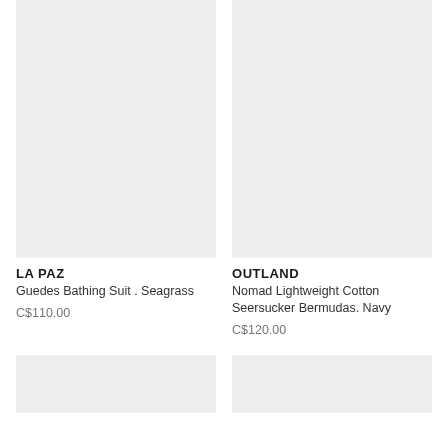[Figure (photo): Product image placeholder for LA PAZ Guedes Bathing Suit - light gray background]
[Figure (photo): Product image placeholder for OUTLAND Nomad Lightweight Cotton Seersucker Bermudas - light gray background]
LA PAZ
Guedes Bathing Suit . Seagrass
C$110.00
OUTLAND
Nomad Lightweight Cotton Seersucker Bermudas. Navy
C$120.00
[Figure (photo): Product image placeholder bottom left - light gray background]
[Figure (photo): Product image placeholder bottom right - light gray background]